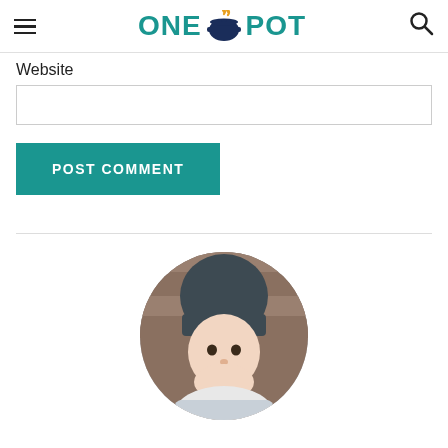ONE POT
Website
[Figure (screenshot): POST COMMENT button (teal/green background, white uppercase bold text)]
[Figure (photo): Circular profile photo of a person wearing a dark grey beanie hat, with a wooden plank background visible behind them]